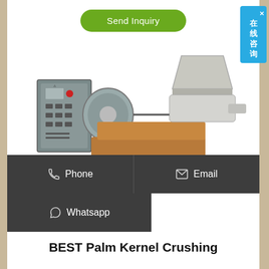[Figure (other): Green 'Send Inquiry' button with rounded pill shape on white background]
[Figure (photo): Industrial palm kernel oil pressing/crushing machine in grey metal with control panel on left, hopper on right, and screw press mechanism in center]
Phone
Email
Whatsapp
BEST Palm Kernel Crushing